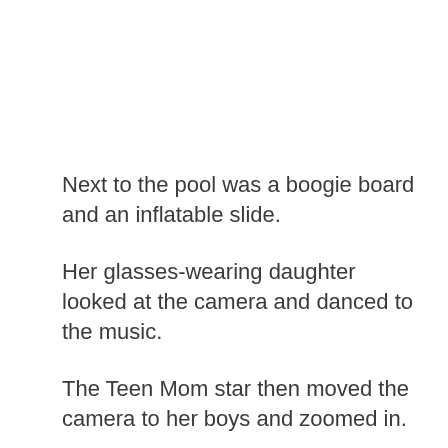Next to the pool was a boogie board and an inflatable slide.
Her glasses-wearing daughter looked at the camera and danced to the music.
The Teen Mom star then moved the camera to her boys and zoomed in.
“Say hello,” she told them.